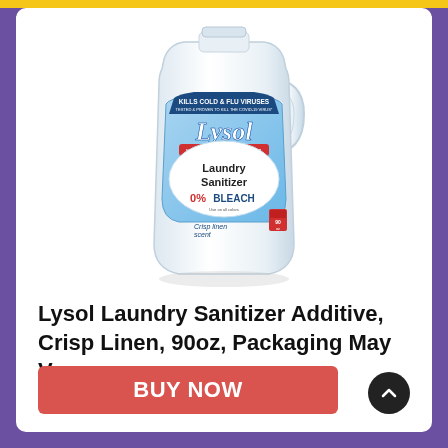[Figure (photo): Lysol Laundry Sanitizer bottle, white with blue label, Crisp Linen scent, 0% Bleach, Kills Cold & Flu Viruses]
Lysol Laundry Sanitizer Additive, Crisp Linen, 90oz, Packaging May Vary
BUY NOW